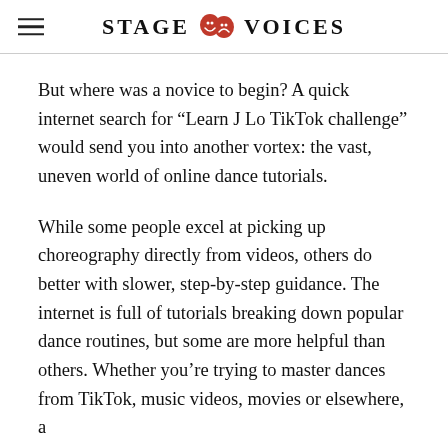STAGE VOICES
But where was a novice to begin? A quick internet search for “Learn J Lo TikTok challenge” would send you into another vortex: the vast, uneven world of online dance tutorials.
While some people excel at picking up choreography directly from videos, others do better with slower, step-by-step guidance. The internet is full of tutorials breaking down popular dance routines, but some are more helpful than others. Whether you’re trying to master dances from TikTok, music videos, movies or elsewhere, a